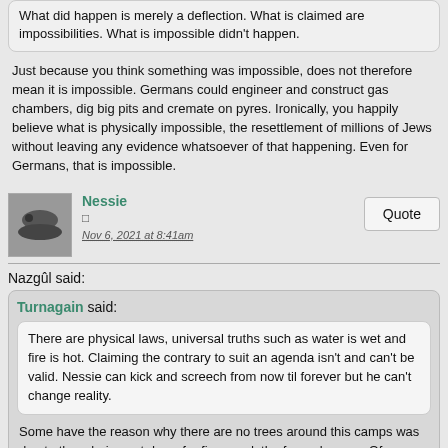What did happen is merely a deflection. What is claimed are impossibilities. What is impossible didn't happen.
Just because you think something was impossible, does not therefore mean it is impossible. Germans could engineer and construct gas chambers, dig big pits and cremate on pyres. Ironically, you happily believe what is physically impossible, the resettlement of millions of Jews without leaving any evidence whatsoever of that happening. Even for Germans, that is impossible.
Nessie
Nov 6, 2021 at 8:41am
Nazgûl said:
Turnagain said:
There are physical laws, universal truths such as water is wet and fire is hot. Claiming the contrary to suit an agenda isn't and can't be valid. Nessie can kick and screech from now til forever but he can't change reality.
Some have the reason why there are no trees around this camps was due to them being cut down for fire wood, the funeral pyres.  Of course it was all farmland and not forest.  This Nessie believes in this event and has to bend reality to make the parts fit. However, he can think what he wishes. Others do not need to follow him.